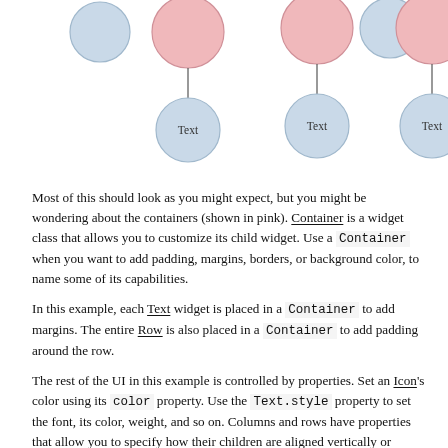[Figure (flowchart): Widget tree diagram showing parent-child relationships. Three groups of circles: pink parent circles at top connected by arrows to smaller blue child circles labeled 'Text'. Blue circles also appear at the top row without children.]
Most of this should look as you might expect, but you might be wondering about the containers (shown in pink). Container is a widget class that allows you to customize its child widget. Use a Container when you want to add padding, margins, borders, or background color, to name some of its capabilities.
In this example, each Text widget is placed in a Container to add margins. The entire Row is also placed in a Container to add padding around the row.
The rest of the UI in this example is controlled by properties. Set an Icon's color using its color property. Use the Text.style property to set the font, its color, weight, and so on. Columns and rows have properties that allow you to specify how their children are aligned vertically or horizontally, and how much space the children should occupy.